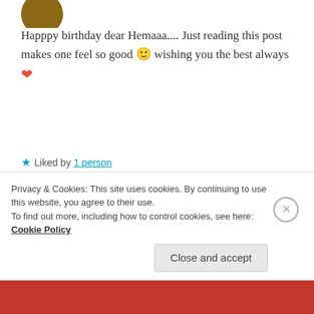[Figure (photo): Circular profile photo avatar at top left, partially cropped]
Happpy birthday dear Hemaaa.... Just reading this post makes one feel so good 🙂 wishing you the best always ❤
★ Liked by 1 person
REPLY
[Figure (photo): Circular profile photo of Hemalatha Ramesh, blue/grey background]
HEMALATHA RAMESH
October 4, 2021 at 6:53 pm
Privacy & Cookies: This site uses cookies. By continuing to use this website, you agree to their use.
To find out more, including how to control cookies, see here: Cookie Policy
Close and accept